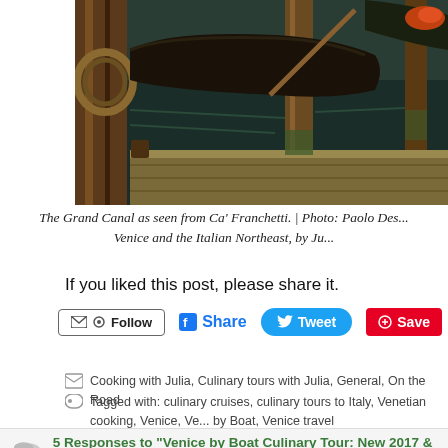[Figure (photo): Photo of gondolas and wooden dock posts on the Grand Canal in Venice, with dark water reflections]
The Grand Canal as seen from Ca' Franchetti. | Photo: Paolo Des... Venice and the Italian Northeast, by Ju...
If you liked this post, please share it.
Follow | Share | Tweet | Save
Cooking with Julia, Culinary tours with Julia, General, On the Road
Tagged with: culinary cruises, culinary tours to Italy, Venetian cooking, Venice, Ve... by Boat, Venice travel
5 Responses to "Venice by Boat Culinary Tour: New 2017 & 2..."